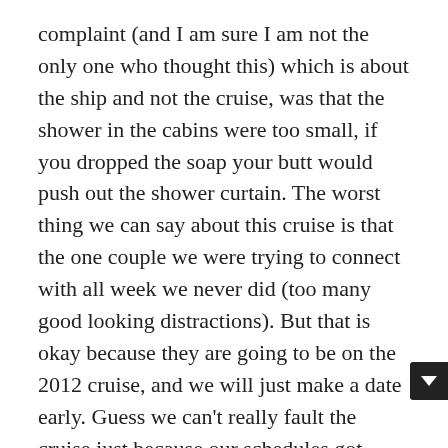complaint (and I am sure I am not the only one who thought this) which is about the ship and not the cruise, was that the shower in the cabins were too small, if you dropped the soap your butt would push out the shower curtain. The worst thing we can say about this cruise is that the one couple we were trying to connect with all week we never did (too many good looking distractions). But that is okay because they are going to be on the 2012 cruise, and we will just make a date early. Guess we can't really fault the cruise just because our schedules got messed up. (Note to self: Plan play time better next cruise!)
One hypothetical scenario you need to picture… we had a really big balcony which stuck out from the side of the ship so you can see the pilot house (where the captain i... We just got back to our cabin from a suite party. There i...